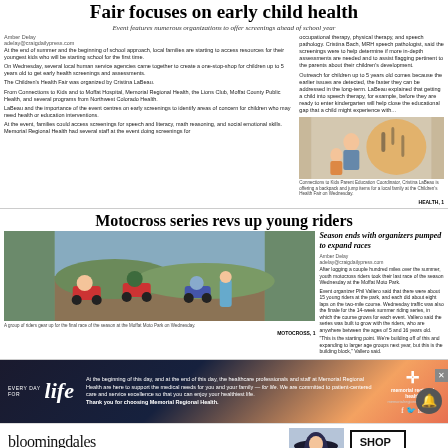Fair focuses on early child health
Event features numerous organizations to offer screenings ahead of school year
At the end of summer and the beginning of school approach, local families are starting to access resources for their youngest kids who will be starting school for the first time. On Wednesday, several local human service agencies came together to create a one-stop-shop for children up to 5 years old to get early health screenings and assessments. The Children's Health Fair was organized by Cristina LaBeau. From Connections to Kids and to Moffat Hospital, Memorial Regional Health, the Lions Club, Moffat County Public Health, and several programs from Northwest Colorado Health. LaBeau and the importance of the event centres on early screenings to identify areas of concern for children who may need health or education interventions. At the event, families could access screenings for speech and literacy, math reasoning, and social emotional skills. Memorial Regional Health had several staff at the event doing screenings for occupational therapy, physical therapy, and speech pathology. Cristina Bach, MRH speech pathologist, said the screenings were to help determine if more in-depth assessments are needed and to assist flagging pertinent to the parents about their children's development. Outreach for children up to 5 years old comes because the earlier issues are detected, the faster they can be addressed in the long-term. LaBeau explained that getting a child into speech therapy, for example, before they are ready to enter kindergarten will help close the educational gap that a child might experience with...
[Figure (photo): Connections to Kids Parent Education Coordinator Cristina LaBeau is offering a backpack and jump items for a local family at the Children's Health Fair on Wednesday.]
Connections to Kids Parent Education Coordinator, Cristina LaBeau is offering a backpack and jump items for a local family at the Children's Health Fair on Wednesday.
HEALTH, 1
Motocross series revs up young riders
[Figure (photo): A group of riders line up for the final race of the season at the Moffat Moto Park on Wednesday. Motocross riders with dirt bikes gathered outdoors.]
A group of riders gear up for the final race of the season at the Moffat Moto Park on Wednesday.
Season ends with organizers pumped to expand races
After logging a couple hundred miles over the summer, youth motocross riders took their last race of the season Wednesday at the Moffat Moto Park. Event organizer Phil Vallero said that there were about 15 young riders at the park, and each did about eight laps on the two-mile course. Wednesday traffic was also the finale for the 14-week summer riding series, in which the course grows for each event. Vallero said the series was built to grow with the riders, who are anywhere between the ages of 5 and 16 years old. "This is the starting point. We're building off of this and expanding to larger age groups next year, but this is the building block," Vallero said.
MOTOCROSS, 1
[Figure (advertisement): Memorial Regional Health advertisement. Decorative background with text: 'At the beginning of this day, and at the end of this day, the healthcare professionals and staff at Memorial Regional Health are here to support the medical needs for you and your family — for life. We are committed to patient-centered care and service excellence so that you can enjoy your healthiest life. Thank you for choosing Memorial Regional Health.' With Memorial Regional Health logo and cross symbol.]
[Figure (advertisement): Bloomingdale's advertisement: 'bloomingdales — View Today's Top Deals!' with model wearing hat and 'SHOP NOW >' button.]